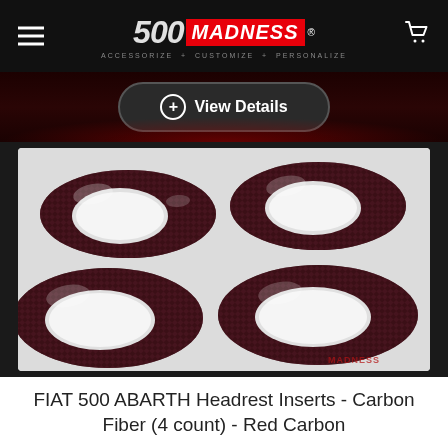500 MADNESS - ACCESSORIZE + CUSTOMIZE + PERSONALIZE
View Details
[Figure (photo): Four dark red carbon fiber headrest inserts for FIAT 500 ABARTH, arranged in a 2x2 grid on a light grey background. The inserts are glossy with a carbon fiber weave pattern.]
FIAT 500 ABARTH Headrest Inserts - Carbon Fiber (4 count) - Red Carbon